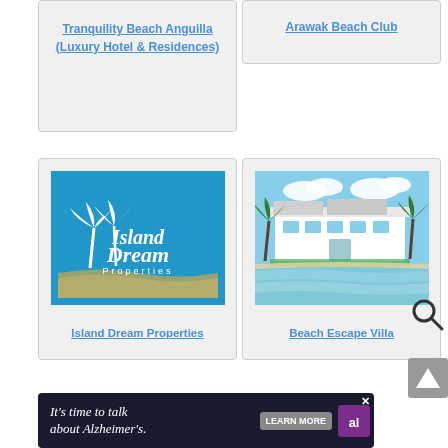Tranquility Beach Anguilla (Luxury Hotel & Residences)
Arawak Beach Club
[Figure (logo): Island Dream Properties logo — teal/blue background with white palm tree silhouettes and stylized text reading 'Island Dream Properties']
Island Dream Properties
[Figure (photo): Beach Escape Villa — aerial/ground photo of a large white villa with palm trees and a crystal-clear turquoise beach in the foreground]
Beach Escape Villa
[Figure (other): Search icon (magnifying glass)]
[Figure (other): Back to top button with triangle/arrow icon]
[Figure (infographic): Advertisement banner: 'It's time to talk about Alzheimer's.' with LEARN MORE button and Alzheimer's Association logo, with a close X button]